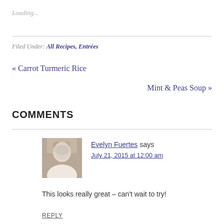Loading...
Filed Under: All Recipes, Entrées
« Carrot Turmeric Rice
Mint & Peas Soup »
COMMENTS
Evelyn Fuertes says
July 21, 2015 at 12:00 am
This looks really great – can't wait to try!
REPLY